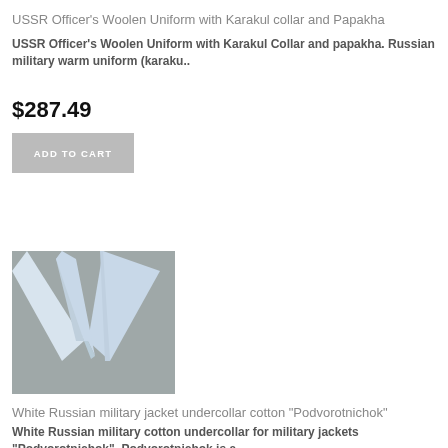USSR Officer's Woolen Uniform with Karakul collar and Papakha
USSR Officer's Woolen Uniform with Karakul Collar and papakha. Russian military warm uniform (karaku..
$287.49
ADD TO CART
[Figure (photo): White V-shaped fabric collar (Podvorotnichok) on grey background]
White Russian military jacket undercollar cotton "Podvorotnichok"
White Russian military cotton undercollar for military jackets "Podvorotnichok". Podvorotnichok is a..